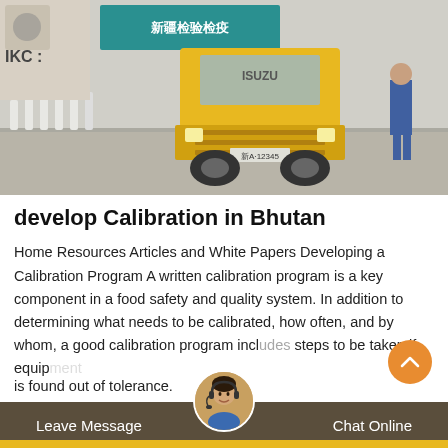[Figure (photo): Yellow ISUZU truck approaching on a road, with white bollards on the left, a teal sign with Chinese characters in the background, and a person in blue workwear on the right side.]
develop Calibration in Bhutan
Home Resources Articles and White Papers Developing a Calibration Program A written calibration program is a key component in a food safety and quality system. In addition to determining what needs to be calibrated, how often, and by whom, a good calibration program includes steps to be taken if equipment is found out of tolerance.
Leave Message   Chat Online